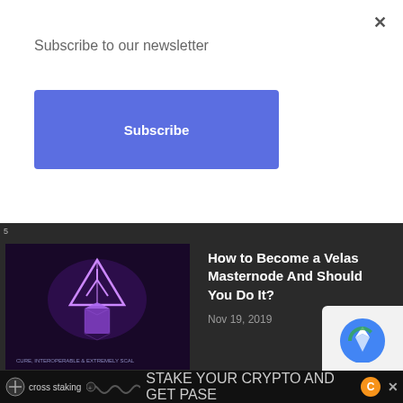Subscribe to our newsletter
Subscribe
×
[Figure (screenshot): Thumbnail for Velas Masternode article — dark purple background with Velas logo (triangle shape) and text 'CURE, INTEROPERABLE & EXTREMELY SCAL']
How to Become a Velas Masternode And Should You Do It?
Nov 19, 2019
[Figure (screenshot): Thumbnail for Penetration Testing article — dark blue background with glowing digital fingerprint / circuit board graphic]
5 Types of Penetration Testing: What you Must Know about Them?
Nov 6, 2019
Team & About Us
cross staking   STAKE YOUR CRYPTO AND GET PASE